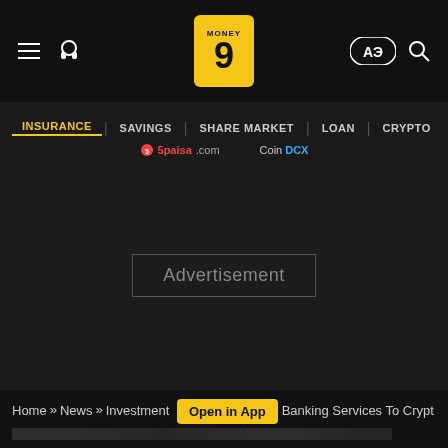Money9 — INSURANCE | SAVINGS | SHARE MARKET | LOAN | CRYPTO
[Figure (screenshot): Advertisement placeholder box on dark background]
Home » News » Investment » [Open in App] Banking Services To Crypt